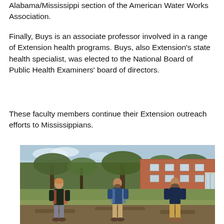Alabama/Mississippi section of the American Water Works Association.
Finally, Buys is an associate professor involved in a range of Extension health programs. Buys, also Extension’s state health specialist, was elected to the National Board of Public Health Examiners’ board of directors.
These faculty members continue their Extension outreach efforts to Mississippians.
[Figure (photo): Three men standing outdoors on a lawn in front of a brick building and large trees, socially distanced. The man on the left wears a dark vest over a plaid shirt and grey pants. The man in the middle wears a blue vest. The man on the right wears a dark blue sweater and khaki pants.]